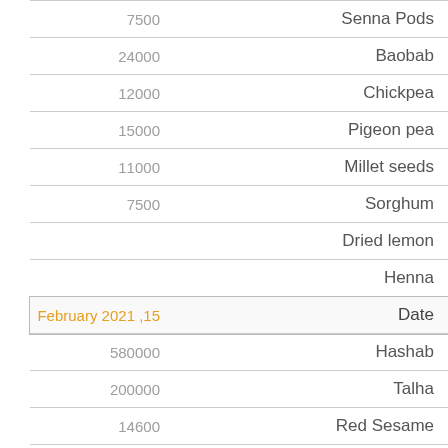| Number | Item |
| --- | --- |
| 7500 | Senna Pods |
| 24000 | Baobab |
| 12000 | Chickpea |
| 15000 | Pigeon pea |
| 11000 | Millet seeds |
| 7500 | Sorghum |
|  | Dried lemon |
|  | Henna |
| 15 February 2021 | Date |
| 580000 | Hashab |
| 200000 | Talha |
| 14600 | Red Sesame |
| 15000 | White Sesame |